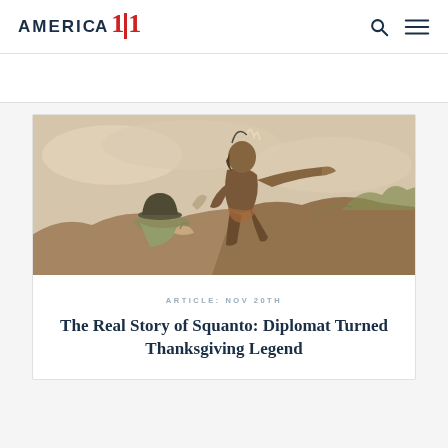AMERICA 101
[Figure (illustration): Historical engraving/illustration of a Native American figure standing and pointing with outstretched arm, with a pilgrim figure wearing a wide-brimmed hat below, set against a rocky and cloudy background. Sepia/tan toned vintage style.]
ARTICLE: NOV 20TH
The Real Story of Squanto: Diplomat Turned Thanksgiving Legend